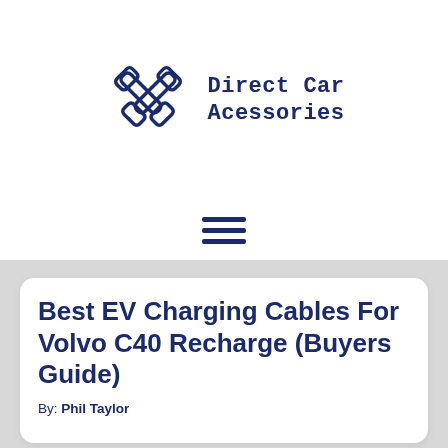[Figure (logo): Direct Car Acessories logo with crossed wrenches icon and text]
[Figure (other): Hamburger menu icon with three horizontal lines]
Best EV Charging Cables For Volvo C40 Recharge (Buyers Guide)
By: Phil Taylor